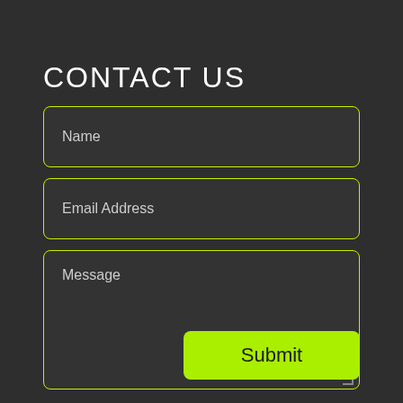CONTACT US
Name
Email Address
Message
Submit